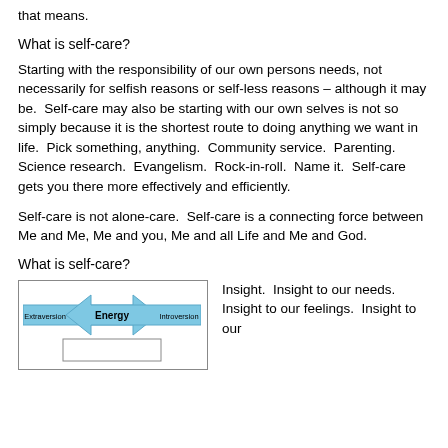that means.
What is self-care?
Starting with the responsibility of our own persons needs, not necessarily for selfish reasons or self-less reasons – although it may be.  Self-care may also be starting with our own selves is not so simply because it is the shortest route to doing anything we want in life.  Pick something, anything.  Community service.  Parenting.  Science research.  Evangelism.  Rock-in-roll.  Name it.  Self-care gets you there more effectively and efficiently.
Self-care is not alone-care.  Self-care is a connecting force between Me and Me, Me and you, Me and all Life and Me and God.
What is self-care?
[Figure (schematic): Diagram showing Extraversion and Introversion connected by Energy arrows, with a box below]
Insight.  Insight to our needs.  Insight to our feelings.  Insight to our